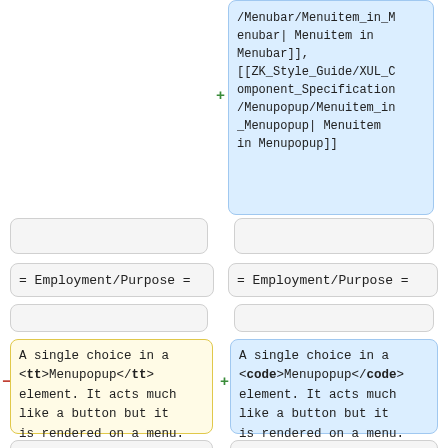[Figure (other): Diff view top-right blue cell showing wiki-style links: /Menubar/Menuitem_in_Menubar| Menuitem in Menubar]], [[ZK_Style_Guide/XUL_Component_Specification/Menupopup/Menuitem_in_Menupopup| Menuitem in Menupopup]]]
= Employment/Purpose =
= Employment/Purpose =
A single choice in a <tt>Menupopup</tt> element. It acts much like a button but it is rendered on a menu.
A single choice in a <code>Menupopup</code> element. It acts much like a button but it is rendered on a menu.
Default
Default